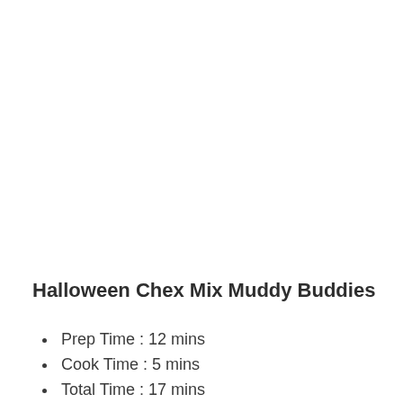Halloween Chex Mix Muddy Buddies
Prep Time : 12 mins
Cook Time : 5 mins
Total Time : 17 mins